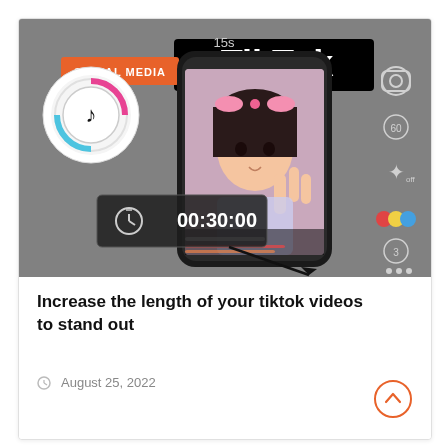[Figure (screenshot): TikTok app screenshot showing a person in cosplay making a peace sign, with a timer showing 00:30:00 overlaid, 'SOCIAL MEDIA' orange badge, '15s' timer indicator, and TikTok logo text]
Increase the length of your tiktok videos to stand out
August 25, 2022